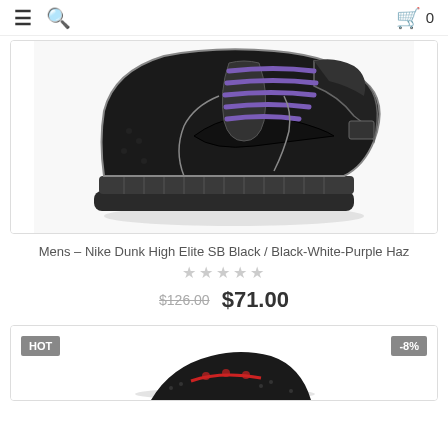≡  🔍  🛍 0
[Figure (photo): Nike Dunk High Elite SB sneaker in black with purple laces and grey piping, side profile view on white background]
Mens – Nike Dunk High Elite SB Black / Black-White-Purple Haz
★★★★★
$126.00  $71.00
[Figure (photo): Partial view of black sneaker with red accents, partially visible at bottom of page, with HOT badge and -8% discount badge]